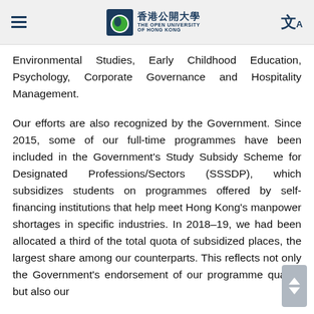The Open University of Hong Kong
Environmental Studies, Early Childhood Education, Psychology, Corporate Governance and Hospitality Management.
Our efforts are also recognized by the Government. Since 2015, some of our full-time programmes have been included in the Government's Study Subsidy Scheme for Designated Professions/Sectors (SSSDP), which subsidizes students on programmes offered by self-financing institutions that help meet Hong Kong's manpower shortages in specific industries. In 2018–19, we had been allocated a third of the total quota of subsidized places, the largest share among our counterparts. This reflects not only the Government's endorsement of our programme quality, but also our